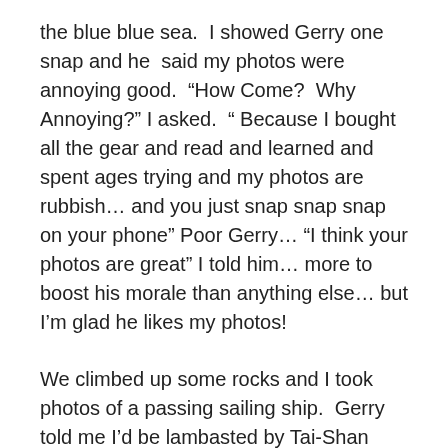the blue blue sea.  I showed Gerry one snap and he  said my photos were annoying good.  “How Come?  Why Annoying?” I asked.  “ Because I bought all the gear and read and learned and spent ages trying and my photos are rubbish… and you just snap snap snap on your phone” Poor Gerry… “I think your photos are great” I told him… more to boost his morale than anything else… but I’m glad he likes my photos!
We climbed up some rocks and I took photos of a passing sailing ship.  Gerry told me I’d be lambasted by Tai-Shan Schierenberg on Landscape Artist for being too twee. I said I didn’t care and reminded him how much he liked my snaps. He scoffed and meandered onwards.